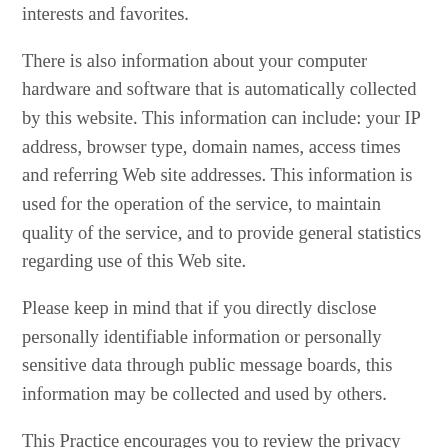interests and favorites.
There is also information about your computer hardware and software that is automatically collected by this website. This information can include: your IP address, browser type, domain names, access times and referring Web site addresses. This information is used for the operation of the service, to maintain quality of the service, and to provide general statistics regarding use of this Web site.
Please keep in mind that if you directly disclose personally identifiable information or personally sensitive data through public message boards, this information may be collected and used by others.
This Practice encourages you to review the privacy statements of Web sites you choose to link to from the website so that you can understand how those Web sites